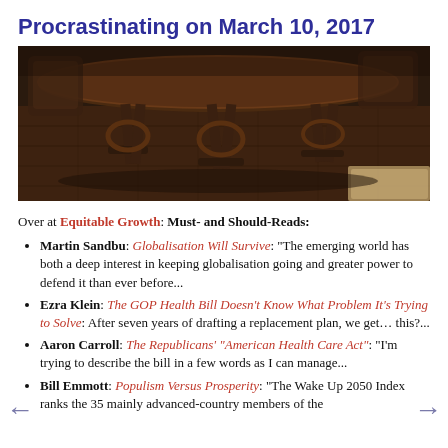Procrastinating on March 10, 2017
[Figure (photo): Dark wood ornate table and chairs on a wood floor, photographed from floor level]
Over at Equitable Growth: Must- and Should-Reads:
Martin Sandbu: Globalisation Will Survive: "The emerging world has both a deep interest in keeping globalisation going and greater power to defend it than ever before...
Ezra Klein: The GOP Health Bill Doesn't Know What Problem It's Trying to Solve: After seven years of drafting a replacement plan, we get… this?...
Aaron Carroll: The Republicans' "American Health Care Act": "I'm trying to describe the bill in a few words as I can manage...
Bill Emmott: Populism Versus Prosperity: "The Wake Up 2050 Index ranks the 35 mainly advanced-country members of the